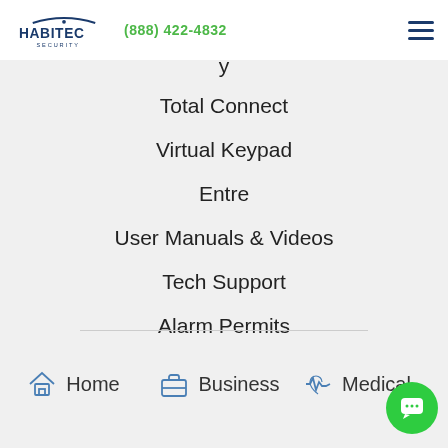HABITEC SECURITY | (888) 422-4832
Total Connect
Virtual Keypad
Entre
User Manuals & Videos
Tech Support
Alarm Permits
Home
Business
Medical